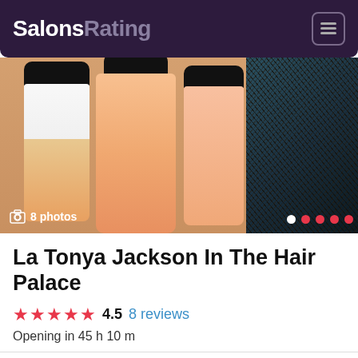SalonsRating
[Figure (photo): Two salon product bottles with orange/pink liquid and black caps on the left, and a close-up of a person's hair on the right. Shows '8 photos' label with camera icon and navigation dots.]
La Tonya Jackson In The Hair Palace
★★★★½ 4.5  8 reviews
Opening in 45 h 10 m
Info  Description  Photos  Reviews  Services